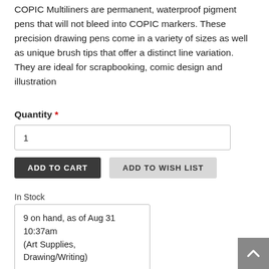COPIC Multiliners are permanent, waterproof pigment pens that will not bleed into COPIC markers. These precision drawing pens come in a variety of sizes as well as unique brush tips that offer a distinct line variation. They are ideal for scrapbooking, comic design and illustration
Quantity *
1
ADD TO CART
ADD TO WISH LIST
In Stock
9 on hand, as of Aug 31 10:37am (Art Supplies, Drawing/Writing)